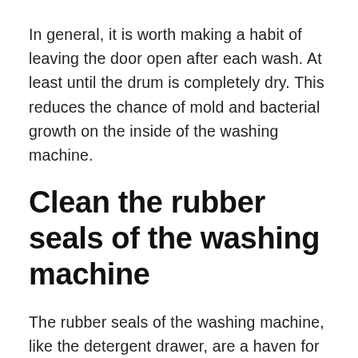In general, it is worth making a habit of leaving the door open after each wash. At least until the drum is completely dry. This reduces the chance of mold and bacterial growth on the inside of the washing machine.
Clean the rubber seals of the washing machine
The rubber seals of the washing machine, like the detergent drawer, are a haven for mold. You can also find bunches of hair, coins, and even missing stockings.
What can I do right now? Moisten a cleaning